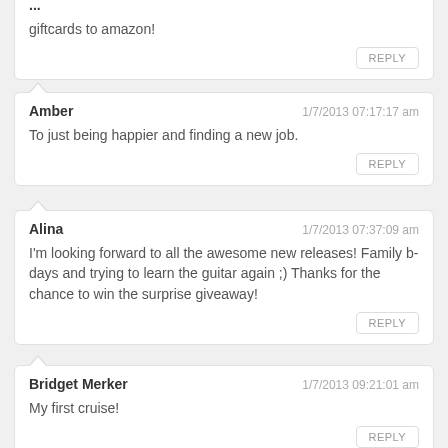giftcards to amazon!
Amber
1/7/2013 07:17:17 am
To just being happier and finding a new job.
Alina
1/7/2013 07:37:09 am
I'm looking forward to all the awesome new releases! Family b-days and trying to learn the guitar again ;) Thanks for the chance to win the surprise giveaway!
Bridget Merker
1/7/2013 09:21:01 am
My first cruise!